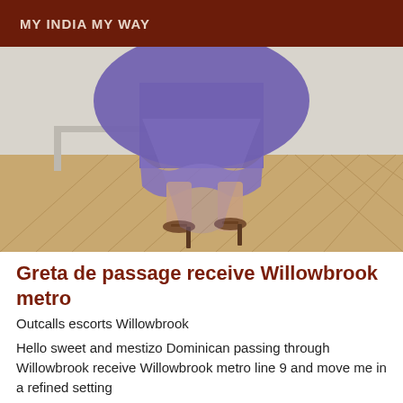MY INDIA MY WAY
[Figure (photo): Lower body of a person wearing a purple sheer dress and brown heeled sandals, standing on a herringbone parquet wood floor with a white wall in the background.]
Greta de passage receive Willowbrook metro
Outcalls escorts Willowbrook
Hello sweet and mestizo Dominican passing through Willowbrook receive Willowbrook metro line 9 and move me in a refined setting